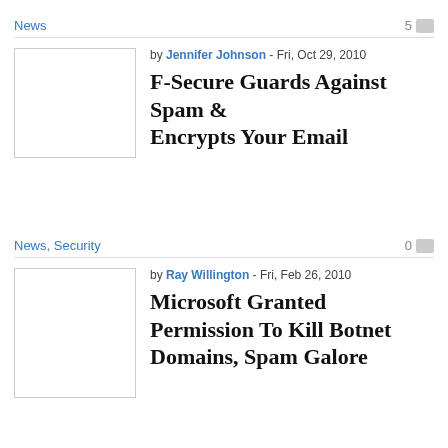News  5
by Jennifer Johnson - Fri, Oct 29, 2010
F-Secure Guards Against Spam & Encrypts Your Email
News, Security  0
by Ray Willington - Fri, Feb 26, 2010
Microsoft Granted Permission To Kill Botnet Domains, Spam Galore